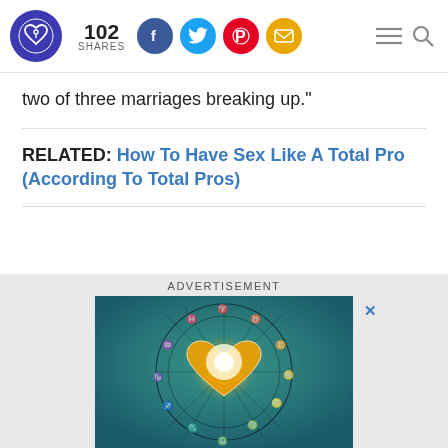102 SHARES [social share icons: Facebook, Twitter, Pinterest, Email] [menu] [search]
two of three marriages breaking up."
RELATED: How To Have Sex Like A Total Pro (According To Total Pros)
[Figure (photo): ADVERTISEMENT — Astrological zodiac wheel with two hands forming a heart shape, glowing with golden light, on a teal/bokeh background.]